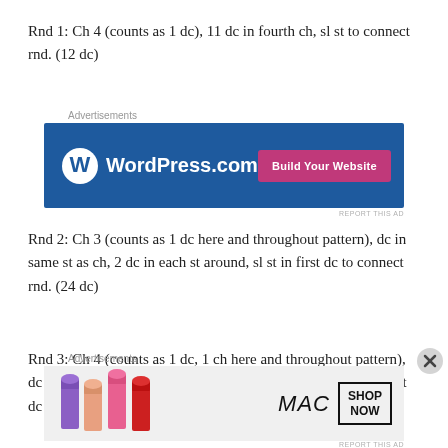Rnd 1: Ch 4 (counts as 1 dc), 11 dc in fourth ch, sl st to connect rnd. (12 dc)
[Figure (other): WordPress.com advertisement banner with blue background, WordPress logo, and 'Build Your Website' button]
Rnd 2: Ch 3 (counts as 1 dc here and throughout pattern), dc in same st as ch, 2 dc in each st around, sl st in first dc to connect rnd. (24 dc)
Rnd 3: Ch 4 (counts as 1 dc, 1 ch here and throughout pattern), dc in same st as ch, (dc, ch 1, dc) in each st around, sl st in first dc to connect rnd. (24 (dc, ch 1, dc))
[Figure (other): MAC cosmetics advertisement banner with lipsticks and 'SHOP NOW' box]